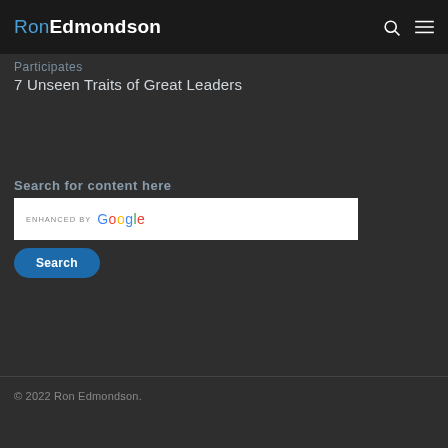RonEdmondson
Participates
7 Unseen Traits of Great Leaders
Search for content here
[Figure (screenshot): Search input box with 'ENHANCED BY Google' branding]
Search
© 2022 Ron Edmondson.